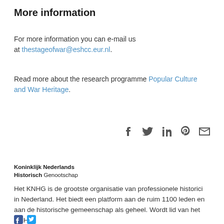More information
For more information you can e-mail us at thestageofwar@eshcc.eur.nl.
Read more about the research programme Popular Culture and War Heritage.
[Figure (infographic): Social share icons: Facebook, Twitter, LinkedIn, Pinterest, Email]
[Figure (logo): Koninklijk Nederlands Historisch Genootschap logo text]
Het KNHG is de grootste organisatie van professionele historici in Nederland. Het biedt een platform aan de ruim 1100 leden en aan de historische gemeenschap als geheel. Wordt lid van het KNHG.